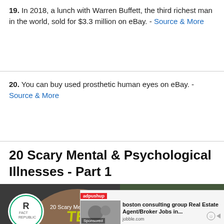19. In 2018, a lunch with Warren Buffett, the third richest man in the world, sold for $3.3 million on eBay. - Source & More
20. You can buy used prosthetic human eyes on eBay. - Source & More
20 Scary Mental & Psychological Illnesses - Part 1
[Figure (screenshot): YouTube video thumbnail for '20 Scary Mental & Psychological Illness...' by Fact Republic, with text overlays reading 'TERRIFYING BRAIN ILLNESSES' in yellow/green bold font on a photo of a man, with a YouTube play button visible]
[Figure (infographic): adpushup advertisement showing boston consulting group Real Estate Agent/Broker Jobs listing on jobble.com with a small image of people in a business meeting, labeled Sponsored]